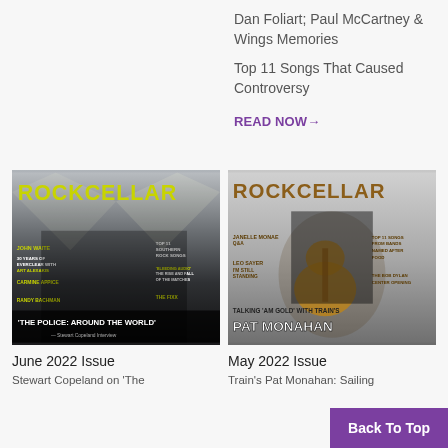Dan Foliart; Paul McCartney & Wings Memories
Top 11 Songs That Caused Controversy
READ NOW→
[Figure (photo): Rock Cellar Magazine June 2022 Issue cover featuring The Police: Around the World, with band members in dark coats. Headlines include John Waite, 30 Years of Everclear with Art Alexakis, Carmine Appice, Randy Bachman, Top 11 Southern Rock Songs, 'Bleeding Audio': The Rise and Fall of the Matches, The Fixx.]
June 2022 Issue
Stewart Copeland on 'The
[Figure (photo): Rock Cellar Magazine May 2022 Issue cover featuring Pat Monahan of Train holding a guitar. Headlines include Janelle Monae Q&A, Leo Sayer I'm Still Standing, Top 11 Songs From Bands Named After Food, The Bob Dylan Center Opening, Talking 'Am Gold' with Train's Pat Monahan.]
May 2022 Issue
Train's Pat Monahan: Sailing
Back To Top